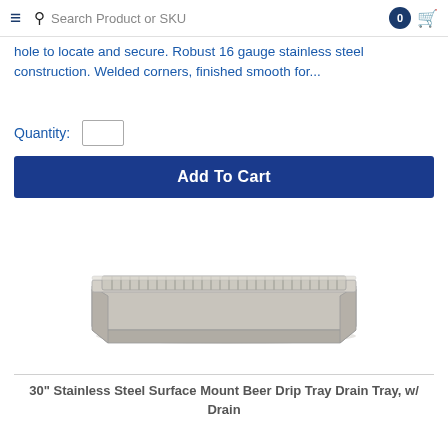≡  🔍 Search Product or SKU  0 🛒
hole to locate and secure. Robust 16 gauge stainless steel construction. Welded corners, finished smooth for...
Quantity:
Add To Cart
[Figure (photo): Stainless steel surface mount beer drip tray with drain, rectangular with grate on top, viewed from slight angle above]
30" Stainless Steel Surface Mount Beer Drip Tray Drain Tray, w/ Drain